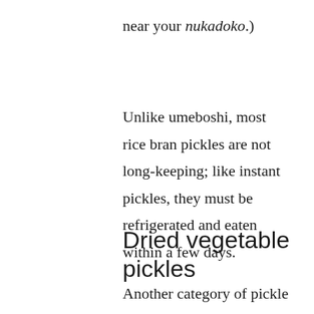near your nukadoko.)
Unlike umeboshi, most rice bran pickles are not long-keeping; like instant pickles, they must be refrigerated and eaten within a few days.
Dried vegetable pickles
Another category of pickle is the